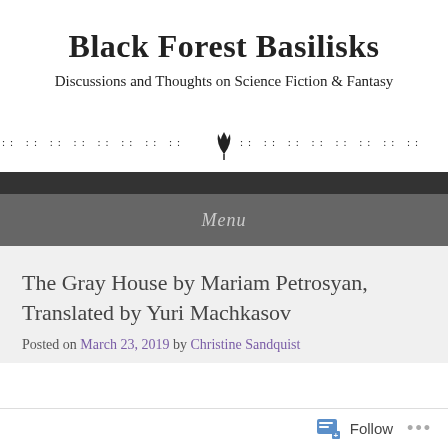Black Forest Basilisks
Discussions and Thoughts on Science Fiction & Fantasy
[Figure (illustration): Decorative horizontal band with repeating dot/cross patterns on both sides and a leaf/plant icon in the center]
Menu
The Gray House by Mariam Petrosyan, Translated by Yuri Machkasov
Posted on March 23, 2019 by Christine Sandquist
Follow